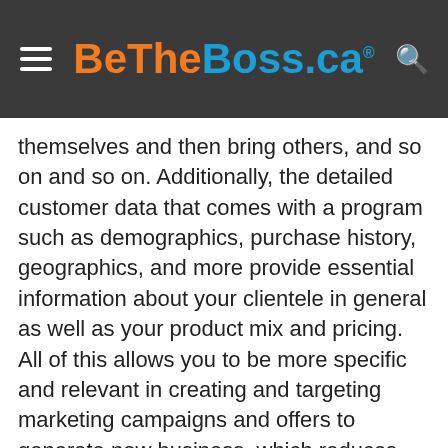BeTheBoss.ca
themselves and then bring others, and so on and so on. Additionally, the detailed customer data that comes with a program such as demographics, purchase history, geographics, and more provide essential information about your clientele in general as well as your product mix and pricing. All of this allows you to be more specific and relevant in creating and targeting marketing campaigns and offers to generate new business, which reduces overall customer acquisition costs. So the value of just one loyal customer is very significant; it’s not just the value of the additional purchases the customer will now make in your establishment versus any other, it is also the value of every person who gets introduced to your business through them, and then the process